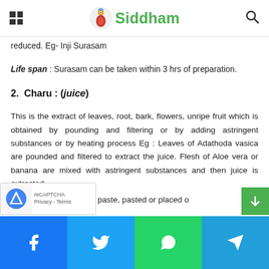Siddham
reduced. Eg- Inji Surasam
Life span : Surasam can be taken within 3 hrs of preparation.
2.  Charu : (juice)
This is the extract of leaves, root, bark, flowers, unripe fruit which is obtained by pounding and filtering or by adding astringent substances or by heating process Eg : Leaves of Adathoda vasica are pounded and filtered to extract the juice. Flesh of Aloe vera or banana are mixed with astringent substances and then juice is extracted.
r poondu is made into a paste, pasted or placed o